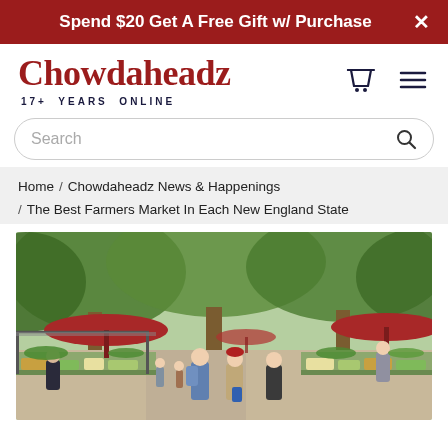Spend $20 Get A Free Gift w/ Purchase
Chowdaheadz 17+ YEARS ONLINE
Search
Home / Chowdaheadz News & Happenings / The Best Farmers Market In Each New England State
[Figure (photo): Outdoor farmers market scene with people browsing vegetable stalls under large trees and red umbrellas]